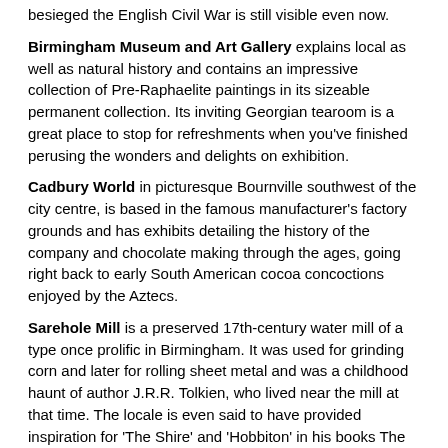besieged the English Civil War is still visible even now.
Birmingham Museum and Art Gallery explains local as well as natural history and contains an impressive collection of Pre-Raphaelite paintings in its sizeable permanent collection. Its inviting Georgian tearoom is a great place to stop for refreshments when you've finished perusing the wonders and delights on exhibition.
Cadbury World in picturesque Bournville southwest of the city centre, is based in the famous manufacturer's factory grounds and has exhibits detailing the history of the company and chocolate making through the ages, going right back to early South American cocoa concoctions enjoyed by the Aztecs.
Sarehole Mill is a preserved 17th-century water mill of a type once prolific in Birmingham. It was used for grinding corn and later for rolling sheet metal and was a childhood haunt of author J.R.R. Tolkien, who lived near the mill at that time. The locale is even said to have provided inspiration for 'The Shire' and 'Hobbiton' in his books The Hobbit and Lord of the Rings.
Soho House, with its Georgian interior and 18th-century garden, was home to pioneering industrialist Matthew Boulton between 1766 and 1809. The Lunar Society, of which Boulton was a founding member, met here, with a membership composed of other great scientists, engineers and thinkers such as Erasmus Darwin, James Watt,